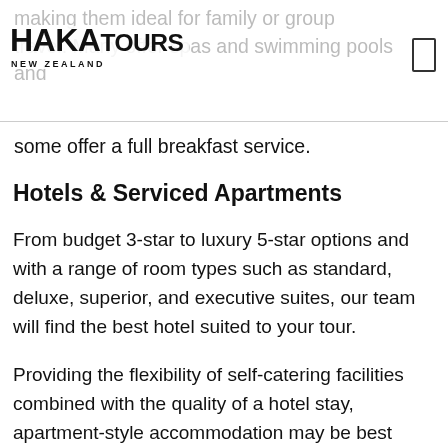HAKATOURS NEW ZEALAND
making them ideal for family or group travel. Many offer spas and swimming pools and some offer a full breakfast service.
Hotels & Serviced Apartments
From budget 3-star to luxury 5-star options and with a range of room types such as standard, deluxe, superior, and executive suites, our team will find the best hotel suited to your tour.
Providing the flexibility of self-catering facilities combined with the quality of a hotel stay, apartment-style accommodation may be best suited for your group tour.
Glamping, Camping & Holiday Parks
There's nothing quite like being close to nature, especially